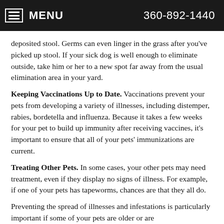MENU    360-892-1440
deposited stool. Germs can even linger in the grass after you've picked up stool. If your sick dog is well enough to eliminate outside, take him or her to a new spot far away from the usual elimination area in your yard.
Keeping Vaccinations Up to Date. Vaccinations prevent your pets from developing a variety of illnesses, including distemper, rabies, bordetella and influenza. Because it takes a few weeks for your pet to build up immunity after receiving vaccines, it's important to ensure that all of your pets' immunizations are current.
Treating Other Pets. In some cases, your other pets may need treatment, even if they display no signs of illness. For example, if one of your pets has tapeworms, chances are that they all do.
Preventing the spread of illnesses and infestations is particularly important if some of your pets are older or are